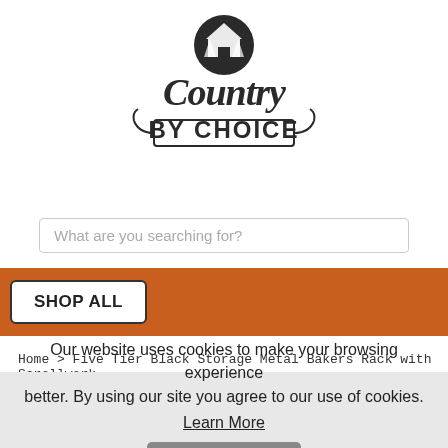[Figure (logo): Country By Choice logo — circular icon of a house with trees above script text 'Country By Choice']
What are you searching for?
SHOP ALL
Home > Five Tier Black Storage Metal Bakers Rack with Scrollwork
Our website uses cookies to make your browsing experience better. By using our site you agree to our use of cookies. Learn More
I Agree